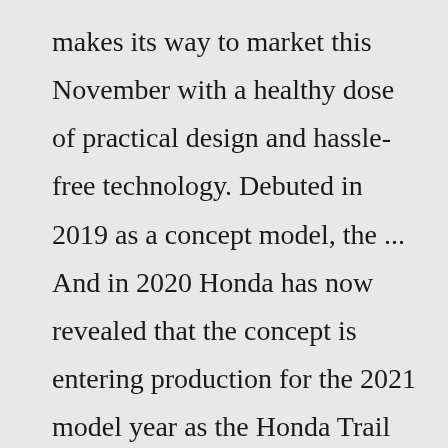makes its way to market this November with a healthy dose of practical design and hassle-free technology. Debuted in 2019 as a concept model, the ... And in 2020 Honda has now revealed that the concept is entering production for the 2021 model year as the Honda Trail 125 , or the Honda Hunter Cub 125 in non-US markets. The CT125 engine is an air-cooled four-stroke overhead cam 124cc Single with an